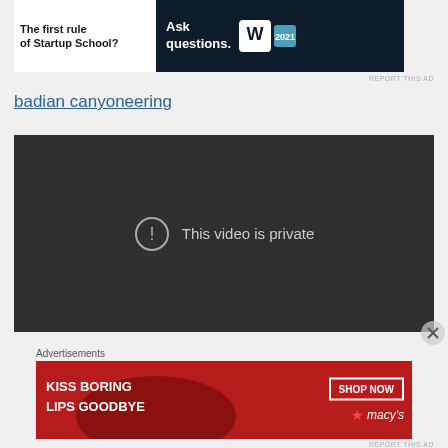[Figure (screenshot): Advertisement banner at top with text 'The first rule of Startup School?' on white background left side, and 'Ask questions.' on dark navy background right side with WordPress and other logos]
REPORT THIS AD
badian canyoneering
[Figure (screenshot): Dark gray video player showing 'This video is private' message with an exclamation mark icon in a circle]
Advertisements
[Figure (screenshot): Red advertisement banner for Macy's reading 'KISS BORING LIPS GOODBYE' with a woman's face and red lips, with 'SHOP NOW' button and Macy's star logo]
REPORT THIS AD